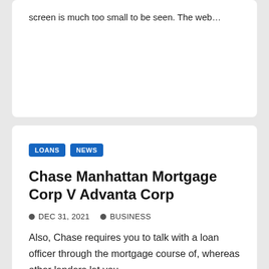screen is much too small to be seen. The web...
LOANS
NEWS
Chase Manhattan Mortgage Corp V Advanta Corp
DEC 31, 2021   BUSINESS
Also, Chase requires you to talk with a loan officer through the mortgage course of, whereas other lenders let you...